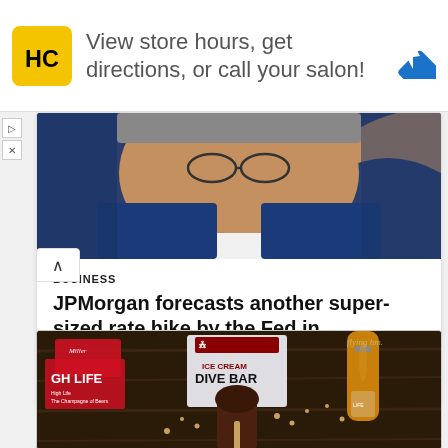[Figure (infographic): Advertisement banner: Hair Club logo (HC in black on yellow square), text 'View store hours, get directions, or call your salon!', blue navigation/directions diamond icon on right]
[Figure (photo): Close-up photo of a man in a blue suit adjusting his glasses or touching his face, shot from below, appears to be Jerome Powell or similar official]
BUSINESS
JPMorgan forecasts another super-sized rate hike by the Fed in September
Businesshala  -  August 23, 2022
[Figure (photo): Photo of Miller High Life beer bottles and an ice cream dive bar product on a dark wooden table with scattered nuts]